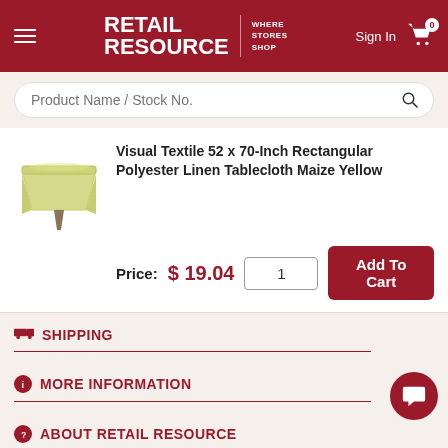RETAIL RESOURCE — WHERE STORES SHOP | Sign In | Cart 0
Product Name / Stock No. [search bar]
Visual Textile 52 x 70-Inch Rectangular Polyester Linen Tablecloth Maize Yellow
Price: $ 19.04
SHIPPING
MORE INFORMATION
ABOUT RETAIL RESOURCE
[Figure (logo): GoDaddy Verified & Secured seal badge]
© 1998 - 2022 Retail Resource, LLC All Rights Reserved